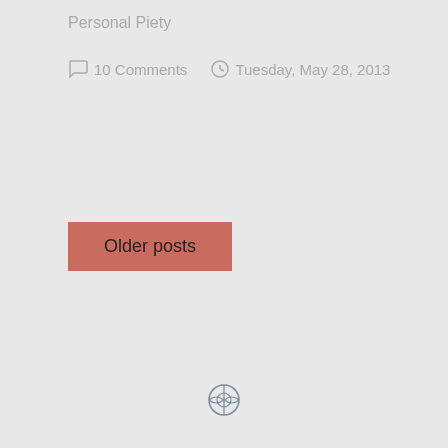Personal Piety
10 Comments   Tuesday, May 28, 2013
Older posts
[Figure (logo): WordPress logo circle icon in gray/blue tones]